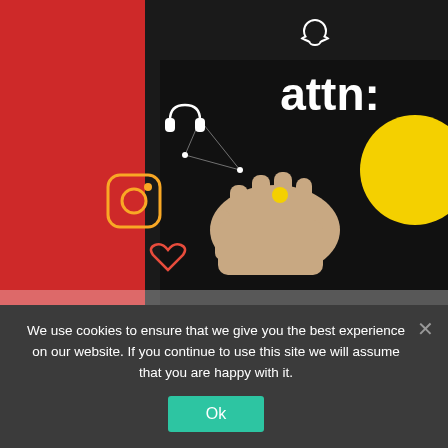[Figure (photo): A person wearing a black hoodie with 'attn:' text on the chest, against a red background with social media icons (Snapchat, Instagram, heart) drawn in white and yellow outline style.]
Overrated or Underrated: Gen Z, Coachella, Twitter Acquisition More!
Hey everybody! In this special “in the air” edition of “Overrated or Underrated,” we get into my thoughts on everything from the Kardashians to cruise ships, Nike to
We use cookies to ensure that we give you the best experience on our website. If you continue to use this site we will assume that you are happy with it.